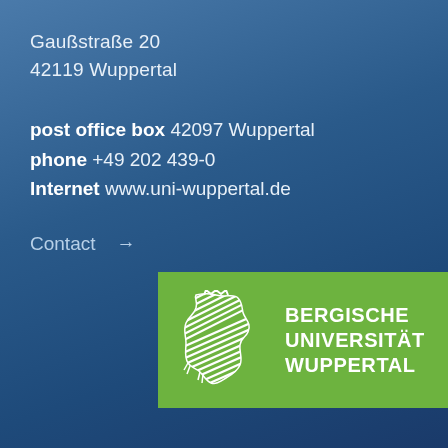Gaußstraße 20
42119 Wuppertal
post office box 42097 Wuppertal
phone +49 202 439-0
Internet www.uni-wuppertal.de
Contact →
[Figure (logo): Bergische Universität Wuppertal logo — green rectangle with white lion heraldic emblem on left and text BERGISCHE UNIVERSITÄT WUPPERTAL on right in white bold capital letters]